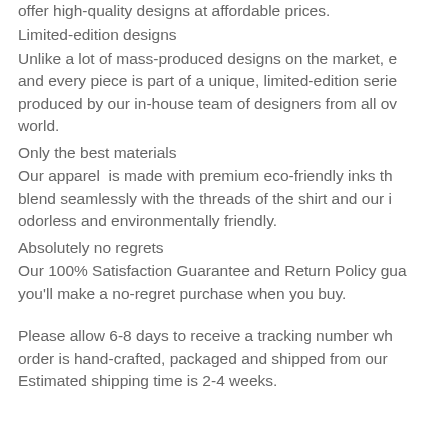offer high-quality designs at affordable prices.
Limited-edition designs
Unlike a lot of mass-produced designs on the market, e and every piece is part of a unique, limited-edition serie produced by our in-house team of designers from all ov world.
Only the best materials
Our apparel is made with premium eco-friendly inks th blend seamlessly with the threads of the shirt and our i odorless and environmentally friendly.
Absolutely no regrets
Our 100% Satisfaction Guarantee and Return Policy gua you'll make a no-regret purchase when you buy.
Please allow 6-8 days to receive a tracking number wh order is hand-crafted, packaged and shipped from our Estimated shipping time is 2-4 weeks.